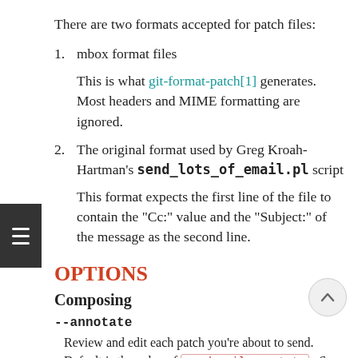There are two formats accepted for patch files:
1. mbox format files
This is what git-format-patch[1] generates. Most headers and MIME formatting are ignored.
2. The original format used by Greg Kroah-Hartman's send_lots_of_email.pl script
This format expects the first line of the file to contain the "Cc:" value and the "Subject:" of the message as the second line.
OPTIONS
Composing
--annotate
Review and edit each patch you're about to send. Default is the value of sendemail.annotate . See the CONFIGURATION section for sendemail.mul ti…